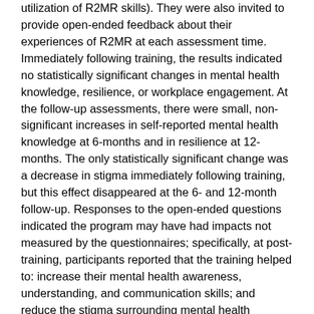utilization of R2MR skills). They were also invited to provide open-ended feedback about their experiences of R2MR at each assessment time. Immediately following training, the results indicated no statistically significant changes in mental health knowledge, resilience, or workplace engagement. At the follow-up assessments, there were small, non-significant increases in self-reported mental health knowledge at 6-months and in resilience at 12-months. The only statistically significant change was a decrease in stigma immediately following training, but this effect disappeared at the 6- and 12-month follow-up. Responses to the open-ended questions indicated the program may have had impacts not measured by the questionnaires; specifically, at post-training, participants reported that the training helped to: increase their mental health awareness, understanding, and communication skills; and reduce the stigma surrounding mental health problems by correcting false beliefs about mental health and the consequences associated with accessing mental health care.
The Carleton et al.2 study was longitudinal and collected data on a single group of PSP participants who received R2MR (i.e., municipal police). A second study by Szeto et al.5 used meta-analytic methods to assess 16 groups of participants who